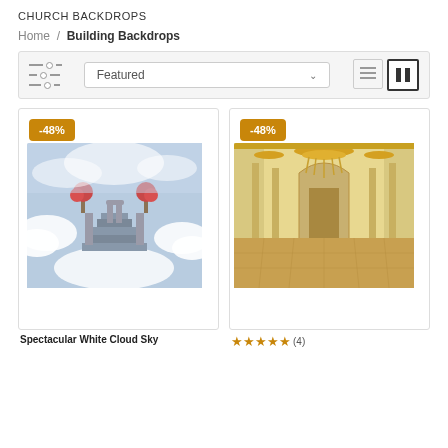CHURCH BACKDROPS
Home / Building Backdrops
Featured
[Figure (photo): Product card with -48% badge and an image of heavenly staircase with clouds and flowering trees]
[Figure (photo): Product card with -48% badge and an image of ornate golden ballroom interior with chandeliers]
Spectacular White Cloud Sky
(4) stars rating